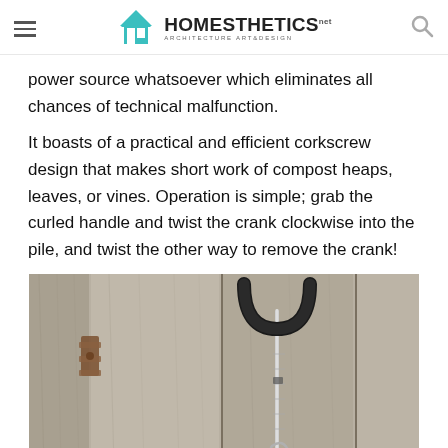HOMESTHETICS — Architecture Art & Design
power source whatsoever which eliminates all chances of technical malfunction.
It boasts of a practical and efficient corkscrew design that makes short work of compost heaps, leaves, or vines. Operation is simple; grab the curled handle and twist the crank clockwise into the pile, and twist the other way to remove the crank!
[Figure (photo): A corkscrew-style compost aerator tool with a black curled handle and silver metal shaft, leaning against a rustic weathered wood plank background.]